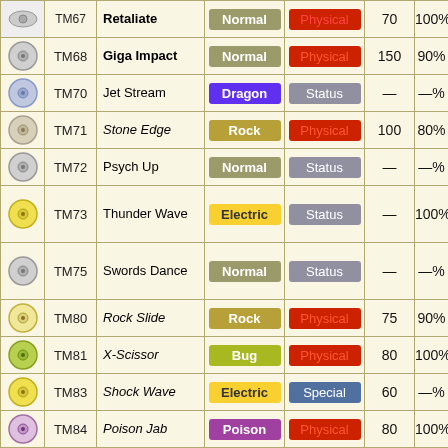|  | TM | Move | Type | Category | Power | Acc |
| --- | --- | --- | --- | --- | --- | --- |
| disc | TM68 | Giga Impact | Normal | Physical | 150 | 90% |
| disc | TM70 | Jet Stream | Dragon | Status | — | —% |
| disc | TM71 | Stone Edge | Rock | Physical | 100 | 80% |
| disc | TM72 | Psych Up | Normal | Status | — | —% |
| disc | TM73 | Thunder Wave | Electric | Status | — | 100% |
| disc | TM75 | Swords Dance | Normal | Status | — | —% |
| disc | TM80 | Rock Slide | Rock | Physical | 75 | 90% |
| disc | TM81 | X-Scissor | Bug | Physical | 80 | 100% |
| disc | TM83 | Shock Wave | Electric | Special | 60 | —% |
| disc | TM84 | Poison Jab | Poison | Physical | 80 | 100% |
| disc | TM85 | Dream Eater | Psychic | Special | 100 | 100% |
| disc | TM86 | Grass Knot | Grass | Special | — | 100% |